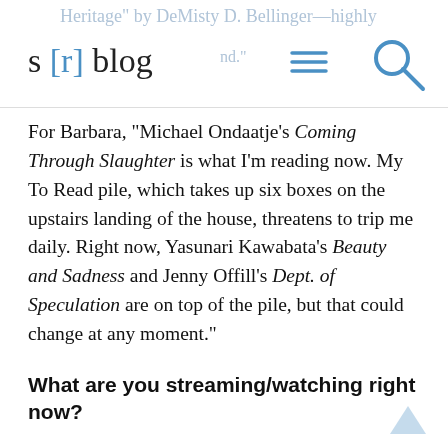s [r] blog
For Barbara, “Michael Ondaatje’s Coming Through Slaughter is what I’m reading now. My To Read pile, which takes up six boxes on the upstairs landing of the house, threatens to trip me daily. Right now, Yasunari Kawabata’s Beauty and Sadness and Jenny Offill’s Dept. of Speculation are on top of the pile, but that could change at any moment.”
What are you streaming/watching right now?
Ashley says, “I’m not one to watch much TV on my own, but I do enjoy shows with my husband and kids. As a family, we’re re-watching every season of The Office and eagerly awaiting the Netflix release of Lost in Space season three. My husband and I also just